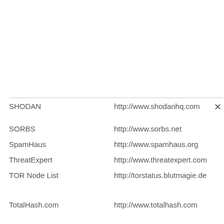| Name | URL |
| --- | --- |
| SHODAN | http://www.shodanhq.com |
| SORBS | http://www.sorbs.net |
| SpamHaus | http://www.spamhaus.org |
| ThreatExpert | http://www.threatexpert.com |
| TOR Node List | http://torstatus.blutmagie.de |
| TotalHash.com | http://www.totalhash.com |
| UCEPROTECT | http://www.uceprotect.net |
| VirusTotal | http://www.virustotal.com |